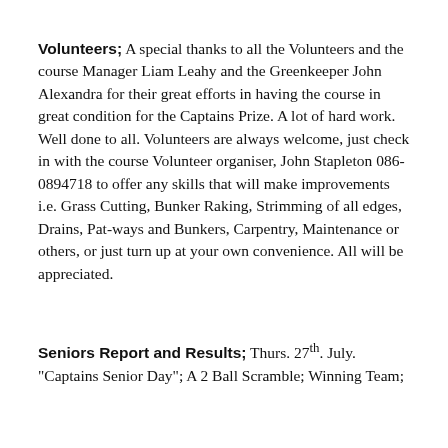Volunteers;  A special thanks to all the Volunteers and the course Manager Liam Leahy and the Greenkeeper John Alexandra for their great efforts in having the course in great condition for the Captains Prize.  A lot of hard work.  Well done to all.  Volunteers are always welcome, just check in with the course Volunteer organiser, John Stapleton 086-0894718 to offer any skills that will make improvements i.e. Grass Cutting, Bunker Raking, Strimming of all edges, Drains, Pat-ways and Bunkers, Carpentry, Maintenance or others, or just turn up at your own convenience.  All will be appreciated.
Seniors Report and Results;  Thurs. 27th. July. "Captains Senior Day";  A 2 Ball Scramble; Winning Team;